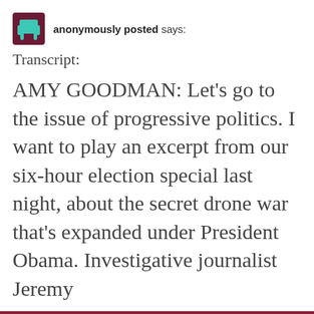anonymously posted says:
Transcript:
AMY GOODMAN: Let’s go to the issue of progressive politics. I want to play an excerpt from our six-hour election special last night, about the secret drone war that’s expanded under President Obama. Investigative journalist Jeremy